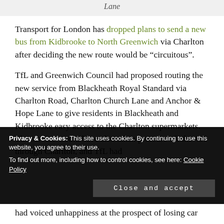Lane
Transport for London has dropped plans to send a new bus from Kidbrooke to North Greenwich via Charlton after deciding the new route would be “circuitous”.
TfL and Greenwich Council had proposed routing the new service from Blackheath Royal Standard via Charlton Road, Charlton Church Lane and Anchor & Hope Lane to give residents in Blackheath and Kidbrooke easy access to the Charlton supermarkets. The service would have also taken pressure off the 486 through Charlton, and TfL had
Privacy & Cookies: This site uses cookies. By continuing to use this website, you agree to their use.
To find out more, including how to control cookies, see here: Cookie Policy
had voiced unhappiness at the prospect of losing car